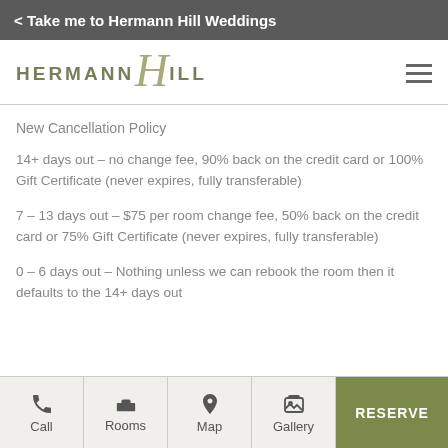< Take me to Hermann Hill Weddings
[Figure (logo): Hermann Hill logo with stylized script H and serif text]
New Cancellation Policy
14+ days out – no change fee, 90% back on the credit card or 100% Gift Certificate (never expires, fully transferable)
7 – 13 days out – $75 per room change fee, 50% back on the credit card or 75% Gift Certificate (never expires, fully transferable)
0 – 6 days out – Nothing unless we can rebook the room then it defaults to the 14+ days out
Call | Rooms | Map | Gallery | RESERVE